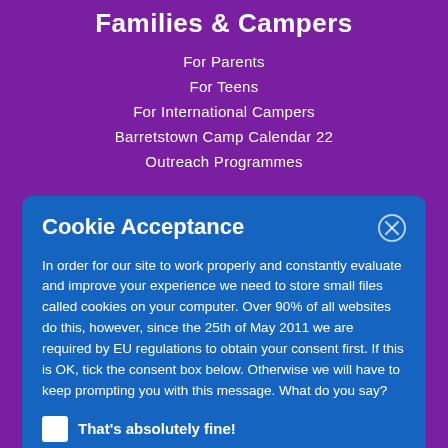Families & Campers
For Parents
For Teens
For International Campers
Barretstown Camp Calendar 22
Outreach Programmes
Cookie Acceptance
In order for our site to work properly and constantly evaluate and improve your experience we need to store small files called cookies on your computer. Over 90% of all websites do this, however, since the 25th of May 2011 we are required by EU regulations to obtain your consent first. If this is OK, tick the consent box below. Otherwise we will have to keep prompting you with this message. What do you say?
That's absolutely fine!